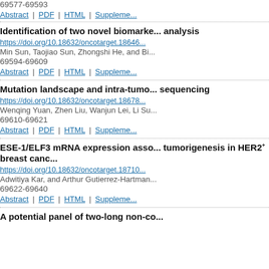69577-69593
Abstract | PDF | HTML | Suppleme...
Identification of two novel biomarke... analysis
https://doi.org/10.18632/oncotarget.18646...
Min Sun, Taojiao Sun, Zhongshi He, and Bi...
69594-69609
Abstract | PDF | HTML | Suppleme...
Mutation landscape and intra-tumo... sequencing
https://doi.org/10.18632/oncotarget.18678...
Wenqing Yuan, Zhen Liu, Wanjun Lei, Li Su...
69610-69621
Abstract | PDF | HTML | Suppleme...
ESE-1/ELF3 mRNA expression asso... tumorigenesis in HER2+ breast canc...
https://doi.org/10.18632/oncotarget.18710...
Adwitiya Kar, and Arthur Gutierrez-Hartman...
69622-69640
Abstract | PDF | HTML | Suppleme...
A potential panel of two-long non-co...